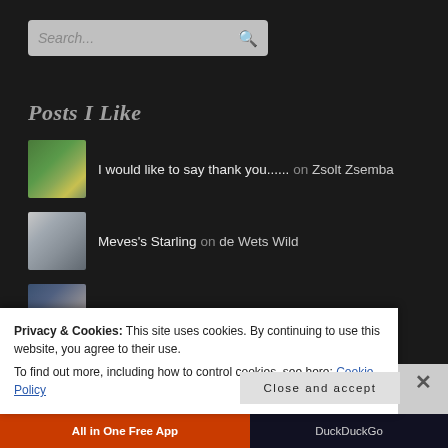[Figure (screenshot): Search bar with placeholder text 'Search...' and magnifying glass icon, on dark background]
Posts I Like
I would like to say thank you...... on Zsolt Zsemba
Meves's Starling on de Wets Wild
Sioux Falls on Endless Roaming
New Jersey Shore (Lavallette A... on Quick Trip
Privacy & Cookies: This site uses cookies. By continuing to use this website, you agree to their use.
To find out more, including how to control cookies, see here: Cookie Policy
Close and accept
All in One Free App   DuckDuckGo